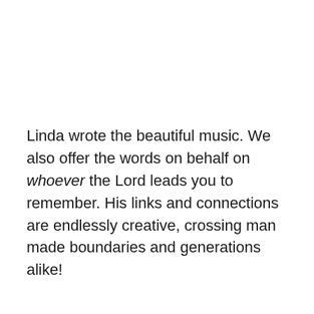Linda wrote the beautiful music. We also offer the words on behalf on whoever the Lord leads you to remember. His links and connections are endlessly creative, crossing man made boundaries and generations alike!